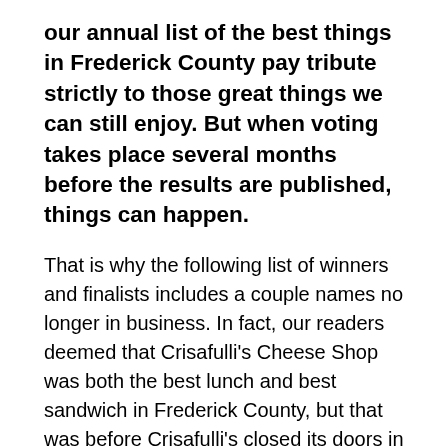our annual list of the best things in Frederick County pay tribute strictly to those great things we can still enjoy. But when voting takes place several months before the results are published, things can happen.
That is why the following list of winners and finalists includes a couple names no longer in business. In fact, our readers deemed that Crisafulli's Cheese Shop was both the best lunch and best sandwich in Frederick County, but that was before Crisafulli's closed its doors in Downtown Frederick in late 2019.